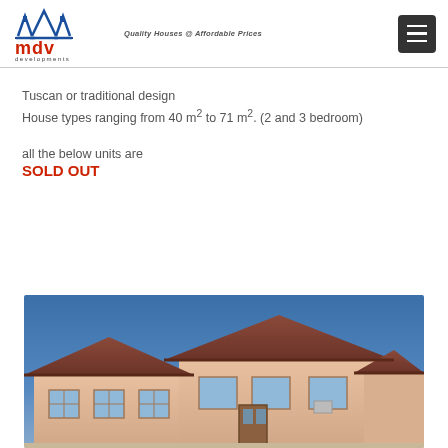MDV Developments — Quality Houses @ Affordable Prices
Tuscan or traditional design
House types ranging from 40 m² to 71 m². (2 and 3 bedroom)
all the below units are
SOLD OUT
[Figure (photo): Photograph of MDV development house exterior — Tuscan style single-storey home with terracotta/salmon-colored walls and dark brown roof panels, blue sky background]